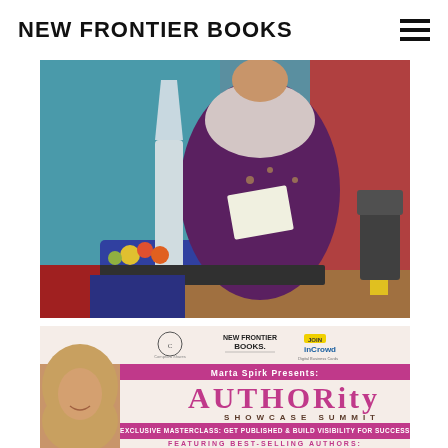NEW FRONTIER BOOKS
[Figure (photo): A woman in a purple floral dress standing on a stage at an event, holding papers. She is in front of colorful drapes (teal, blue, red). There is a tall crystal/glass centerpiece and floral arrangements on a table in front of her. A yellow element is visible on the right side.]
[Figure (infographic): Event banner for 'AUTHORity Showcase Summit' presented by Marta Spirk. Shows logos for Comprara Shares, New Frontier Books, and Join inCrowd Digital Business Cards. Pink banner reads 'Marta Spirk Presents:'. Large pink text reads 'AUTHORity'. Below: 'SHOWCASE SUMMIT'. Pink box: 'EXCLUSIVE MASTERCLASS: GET PUBLISHED & BUILD VISIBILITY FOR SUCCESS'. Bottom: 'FEATURING BEST-SELLING AUTHORS:'. A woman with curly blonde hair is partially visible on the left side.]